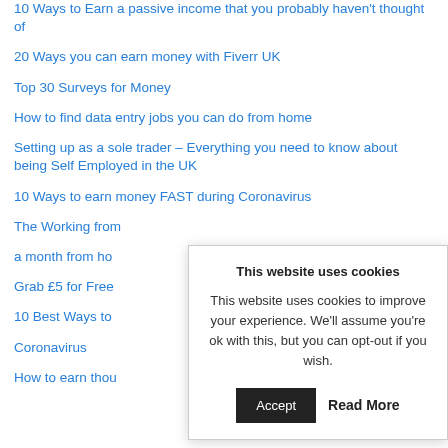10 Ways to Earn a passive income that you probably haven't thought of
20 Ways you can earn money with Fiverr UK
Top 30 Surveys for Money
How to find data entry jobs you can do from home
Setting up as a sole trader – Everything you need to know about being Self Employed in the UK
10 Ways to earn money FAST during Coronavirus
The Working from [home guide — how to make] a month from ho[me]
Grab £5 for Free[...]
10 Best Ways to [...] Coronavirus
How to earn thou[sands...]
This website uses cookies

This website uses cookies to improve your experience. We'll assume you're ok with this, but you can opt-out if you wish.

Accept   Read More